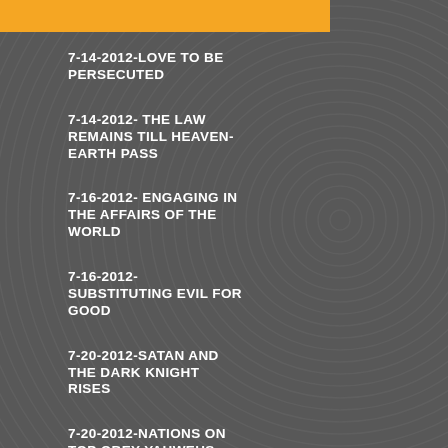7-14-2012-LOVE TO BE PERSECUTED
7-14-2012- THE LAW REMAINS TILL HEAVEN-EARTH PASS
7-16-2012- ENGAGING IN THE AFFAIRS OF THE WORLD
7-16-2012- SUBSTITUTING EVIL FOR GOOD
7-20-2012-SATAN AND THE DARK KNIGHT RISES
7-20-2012-NATIONS ON TOP OBEY YAHWEHS